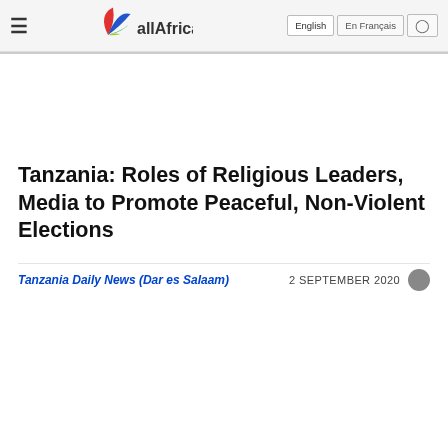allAfrica — English | En Français
Tanzania: Roles of Religious Leaders, Media to Promote Peaceful, Non-Violent Elections
Tanzania Daily News (Dar es Salaam)   2 SEPTEMBER 2020